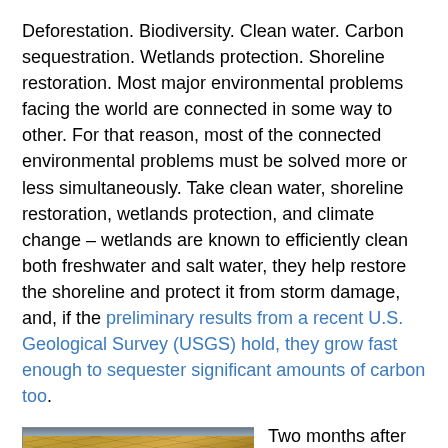Deforestation. Biodiversity. Clean water. Carbon sequestration. Wetlands protection. Shoreline restoration. Most major environmental problems facing the world are connected in some way to other. For that reason, most of the connected environmental problems must be solved more or less simultaneously. Take clean water, shoreline restoration, wetlands protection, and climate change – wetlands are known to efficiently clean both freshwater and salt water, they help restore the shoreline and protect it from storm damage, and, if the preliminary results from a recent U.S. Geological Survey (USGS) hold, they grow fast enough to sequester significant amounts of carbon too.
[Figure (photo): Photograph of a wetlands area with golden-brown marsh grasses and a narrow strip of water/sky visible at the top]
Two months after starting a wetlands restoration research project in California's Sacramento–San